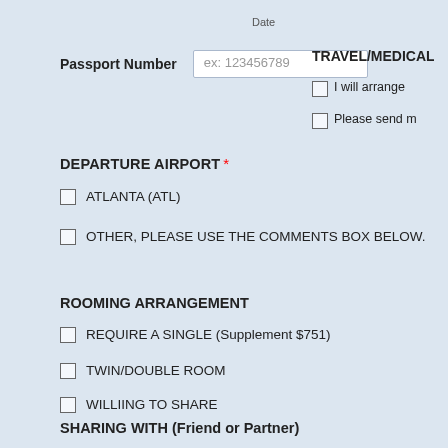Date
Passport Number   ex: 123456789
TRAVEL/MEDICAL
I will arrange
Please send m
DEPARTURE AIRPORT *
ATLANTA (ATL)
OTHER, PLEASE USE THE COMMENTS BOX BELOW.
ROOMING ARRANGEMENT
REQUIRE A SINGLE (Supplement $751)
TWIN/DOUBLE ROOM
WILLIING TO SHARE
SHARING WITH (Friend or Partner)